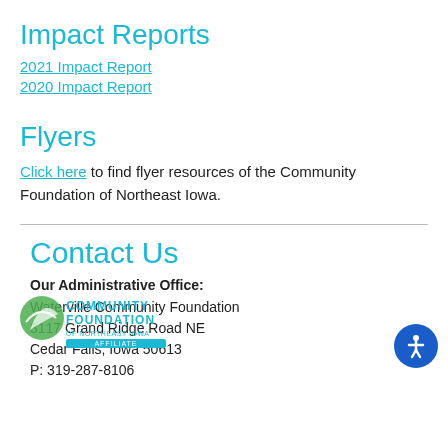Impact Reports
2021 Impact Report
2020 Impact Report
Flyers
Click here to find flyer resources of the Community Foundation of Northeast Iowa.
Contact Us
Our Administrative Office:
Waterville Community Foundation
3117 Grand Ridge Road NE
Cedar Falls, Iowa 50613
P: 319-287-8106